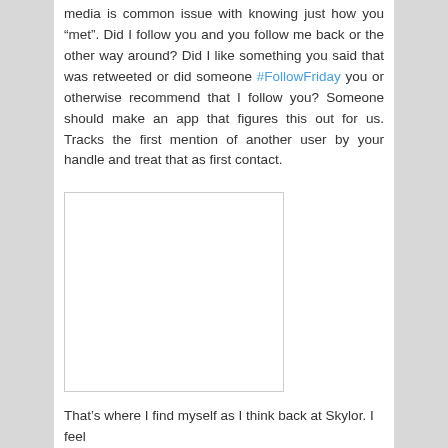media is common issue with knowing just how you “met”. Did I follow you and you follow me back or the other way around? Did I like something you said that was retweeted or did someone #FollowFriday you or otherwise recommend that I follow you? Someone should make an app that figures this out for us. Tracks the first mention of another user by your handle and treat that as first contact.
[Figure (other): Blank white image placeholder with light gray border]
That's where I find myself as I think back at Skylor. I feel